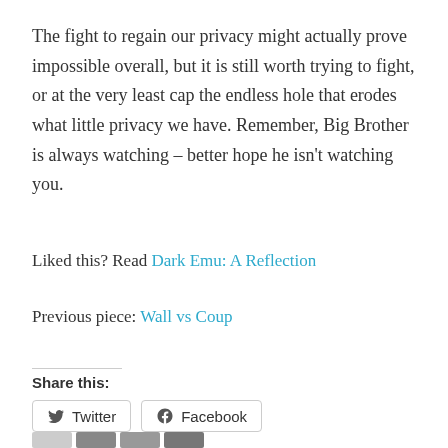The fight to regain our privacy might actually prove impossible overall, but it is still worth trying to fight, or at the very least cap the endless hole that erodes what little privacy we have. Remember, Big Brother is always watching – better hope he isn't watching you.
Liked this? Read Dark Emu: A Reflection
Previous piece: Wall vs Coup
Share this:
[Figure (other): Social share buttons: Twitter and Facebook]